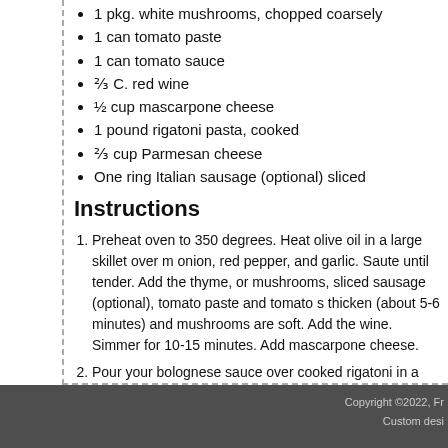1 pkg. white mushrooms, chopped coarsely
1 can tomato paste
1 can tomato sauce
⅔ C. red wine
½ cup mascarpone cheese
1 pound rigatoni pasta, cooked
⅔ cup Parmesan cheese
One ring Italian sausage (optional) sliced
Instructions
Preheat oven to 350 degrees. Heat olive oil in a large skillet over m… onion, red pepper, and garlic. Saute until tender. Add the thyme, o… mushrooms, sliced sausage (optional), tomato paste and tomato s… thicken (about 5-6 minutes) and mushrooms are soft. Add the wine. Simmer for 10-15 minutes. Add mascarpone cheese.
Pour your bolognese sauce over cooked rigatoni in a large cassero… Parmesan and bake until cheese bubbles.
FILED UNDER: PASTA, RECIPES · TAGGED WITH: ALDI, BOLOGNESE SAUCE, EA…
[Figure (infographic): Social media share buttons: Facebook (blue), Twitter (light blue), Email (gray), Pinterest (red)]
Copyright ©2022, Fr… Custom desi…